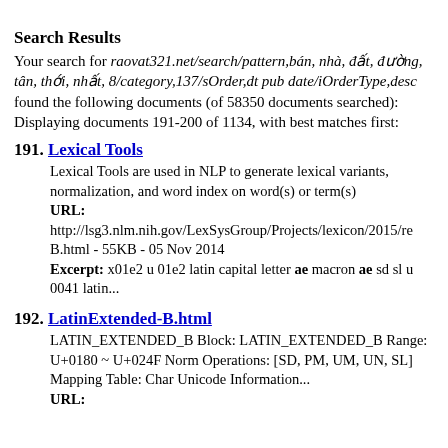Search Results
Your search for raovat321.net/search/pattern,bán, nhà, đất, đường, tân, thới, nhất, 8/category,137/sOrder,dt pub date/iOrderType,desc found the following documents (of 58350 documents searched):
Displaying documents 191-200 of 1134, with best matches first:
191. Lexical Tools
Lexical Tools are used in NLP to generate lexical variants, normalization, and word index on word(s) or term(s)
URL:
http://lsg3.nlm.nih.gov/LexSysGroup/Projects/lexicon/2015/re B.html - 55KB - 05 Nov 2014
Excerpt: x01e2 u 01e2 latin capital letter ae macron ae sd sl u 0041 latin...
192. LatinExtended-B.html
LATIN_EXTENDED_B Block: LATIN_EXTENDED_B Range: U+0180 ~ U+024F Norm Operations: [SD, PM, UM, UN, SL] Mapping Table: Char Unicode Information...
URL: